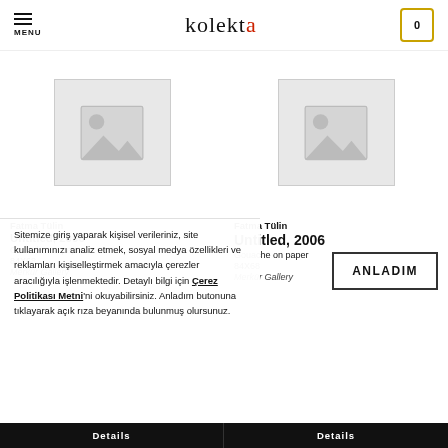MENU | kolekta | 0
[Figure (illustration): Product placeholder image (grey square with picture/mountain icon) for first artwork]
[Figure (illustration): Product placeholder image (grey square with picture/mountain icon) for second artwork]
Fatma Tülin
Untitled, 2006
Sitemize giriş yaparak kişisel verileriniz, site kullanımınızı analiz etmek, sosyal medya özellikleri ve reklamları kişiselleştirmek amacıyla çerezler aracılığıyla işlenmektedir. Detaylı bilgi için Çerez Politikası Metni'ni okuyabilirsiniz. Anladım butonuna tıklayarak açık rıza beyanında bulunmuş olursunuz.
Fatma Tülin
Untitled, 2006
Gouache on paper
84X68
Merkür Gallery
ANLADIM